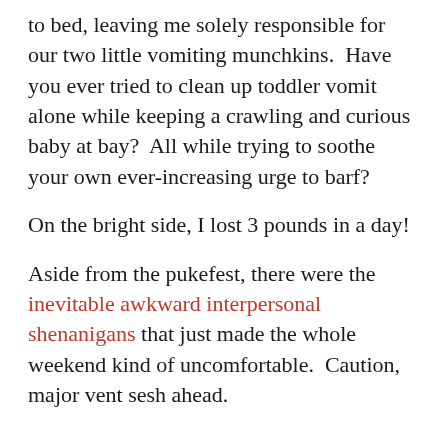to bed, leaving me solely responsible for our two little vomiting munchkins.  Have you ever tried to clean up toddler vomit alone while keeping a crawling and curious baby at bay?  All while trying to soothe your own ever-increasing urge to barf?
On the bright side, I lost 3 pounds in a day!
Aside from the pukefest, there were the inevitable awkward interpersonal shenanigans that just made the whole weekend kind of uncomfortable.  Caution, major vent sesh ahead.